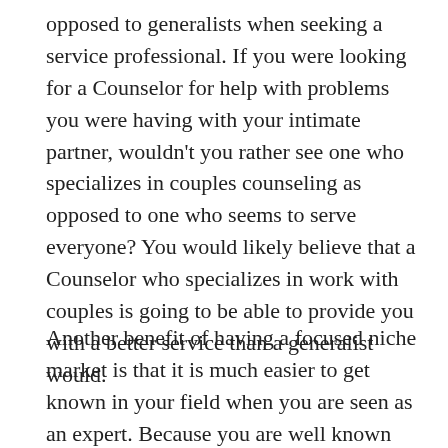opposed to generalists when seeking a service professional. If you were looking for a Counselor for help with problems you were having with your intimate partner, wouldn't you rather see one who specializes in couples counseling as opposed to one who seems to serve everyone? You would likely believe that a Counselor who specializes in work with couples is going to be able to provide you with a better service than a generalist would.
Another benefit of having a focused niche market is that it is much easier to get known in your field when you are seen as an expert. Because you are well known for your